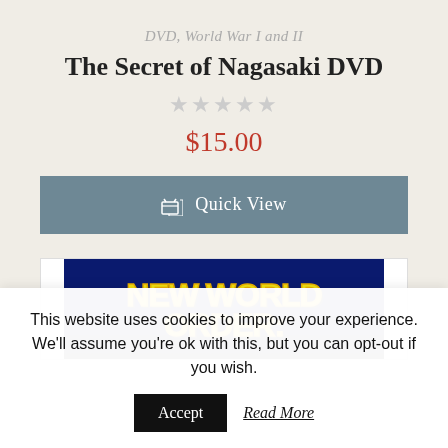DVD, World War I and II
The Secret of Nagasaki DVD
★★★★★
$15.00
Quick View
[Figure (photo): NEW WORLD ORDER text banner on dark blue/black background with yellow bold stylized text]
This website uses cookies to improve your experience. We'll assume you're ok with this, but you can opt-out if you wish.
Accept
Read More